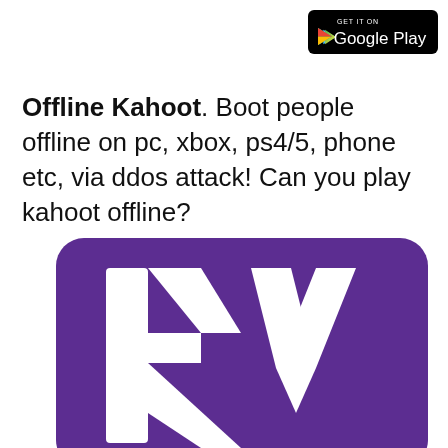[Figure (logo): Google Play badge - black rounded rectangle with GET IT ON text and Google Play text with play arrow icon]
Offline Kahoot. Boot people offline on pc, xbox, ps4/5, phone etc, via ddos attack! Can you play kahoot offline?
[Figure (logo): Kahoot app icon - purple rounded rectangle background with large stylized white K and V letters forming the Kahoot logo]